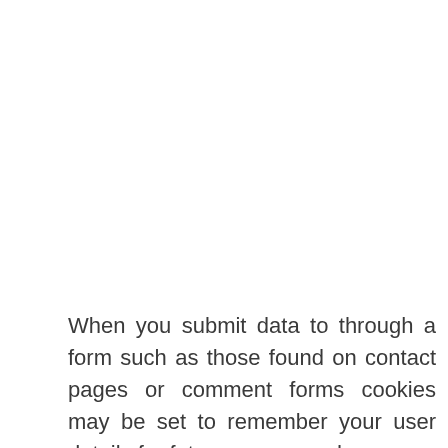When you submit data to through a form such as those found on contact pages or comment forms cookies may be set to remember your user details for future correspondence.